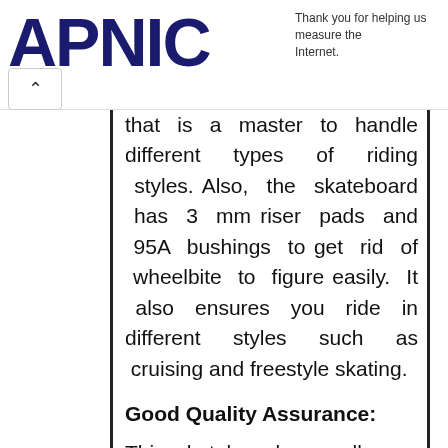APNIC — Thank you for helping us measure the Internet.
that is a master to handle different types of riding styles. Also, the skateboard has 3 mm riser pads and 95A bushings to get rid of wheelbite to figure easily. It also ensures you ride in different styles such as cruising and freestyle skating.
Good Quality Assurance:
This skateboard as well as